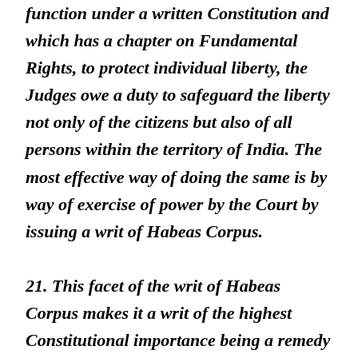function under a written Constitution and which has a chapter on Fundamental Rights, to protect individual liberty, the Judges owe a duty to safeguard the liberty not only of the citizens but also of all persons within the territory of India. The most effective way of doing the same is by way of exercise of power by the Court by issuing a writ of Habeas Corpus.
21. This facet of the writ of Habeas Corpus makes it a writ of the highest Constitutional importance being a remedy available to the lowliest citizen against the